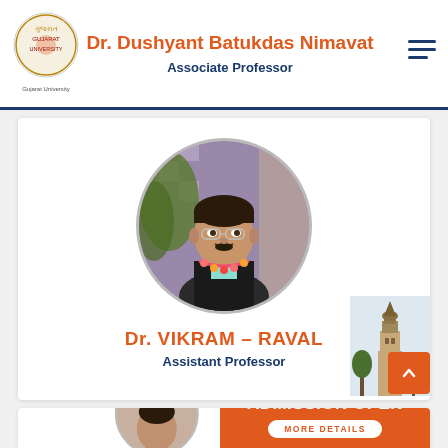Dr. Dushyant Batukdas Nimavat — Associate Professor
[Figure (photo): Circular profile photo of Dr. Vikram Raval]
Dr. VIKRAM - RAVAL
Assistant Professor
[Figure (photo): Partial circular profile photo of another faculty member at bottom]
GUJARAT UNIVERSITY ADMISSION OPEN MORE DETAILS